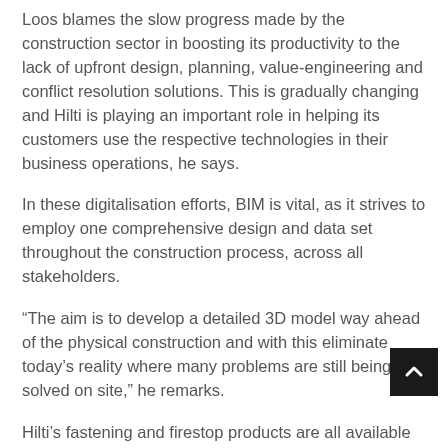Loos blames the slow progress made by the construction sector in boosting its productivity to the lack of upfront design, planning, value-engineering and conflict resolution solutions. This is gradually changing and Hilti is playing an important role in helping its customers use the respective technologies in their business operations, he says.
In these digitalisation efforts, BIM is vital, as it strives to employ one comprehensive design and data set throughout the construction process, across all stakeholders.
“The aim is to develop a detailed 3D model way ahead of the physical construction and with this eliminate today’s reality where many problems are still being solved on site,” he remarks.
Hilti’s fastening and firestop products are all available for digital design and are supported with design, engineering and modelling services for customers.